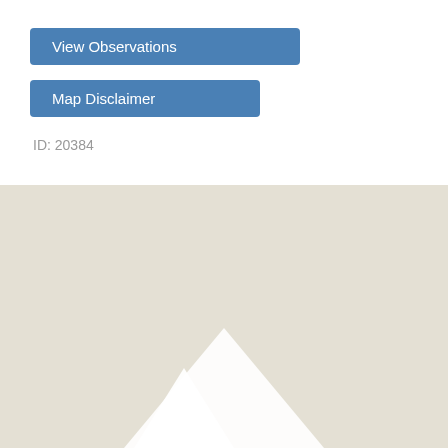View Observations
Map Disclaimer
ID: 20384
[Figure (map): A map view with a beige/tan background showing terrain. A white mountain silhouette is partially visible at the bottom center of the map area.]